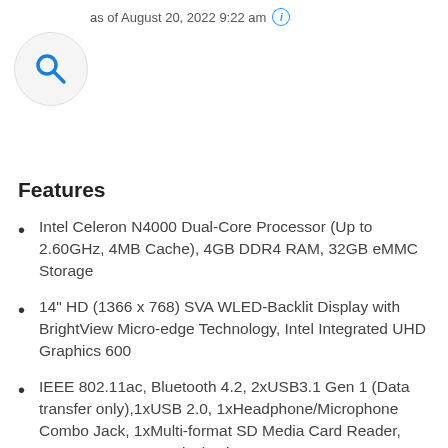as of August 20, 2022 9:22 am ⓘ
[Figure (illustration): Search magnifying glass icon inside a circle]
Features
Intel Celeron N4000 Dual-Core Processor (Up to 2.60GHz, 4MB Cache), 4GB DDR4 RAM, 32GB eMMC Storage
14" HD (1366 x 768) SVA WLED-Backlit Display with BrightView Micro-edge Technology, Intel Integrated UHD Graphics 600
IEEE 802.11ac, Bluetooth 4.2, 2xUSB3.1 Gen 1 (Data transfer only),1xUSB 2.0, 1xHeadphone/Microphone Combo Jack, 1xMulti-format SD Media Card Reader, 1xHDMI 1.4, NO Optical Drive